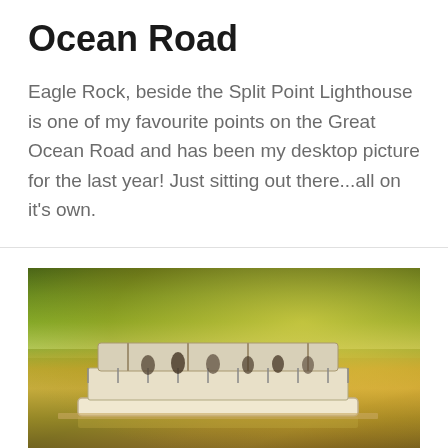Ocean Road
Eagle Rock, beside the Split Point Lighthouse is one of my favourite points on the Great Ocean Road and has been my desktop picture for the last year! Just sitting out there...all on it's own.
[Figure (photo): A river scene at golden hour with a covered tourist ferry boat on calm water surrounded by lush green trees and golden light reflected on the water surface.]